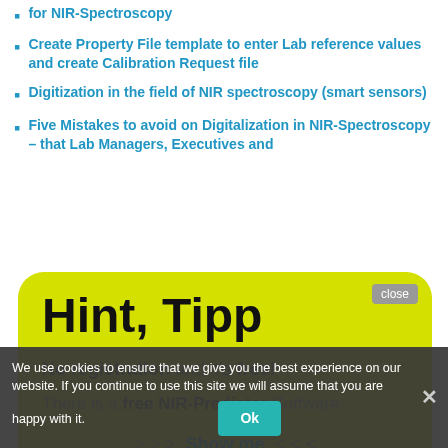for NIR-Spectroscopy
Create Property File template to enter Lab reference values and create Calibration Request file
Digitization in the field of NIR spectroscopy (smart sensors)
Five Mistakes to avoid on Digitalization in NIR-Spectroscopy – that Lab Managers, Executives and
[Figure (screenshot): Yellow modal hint/tip popup overlay on a web page, with title 'Hint, Tipp', text 'No registration and it's free!', 'There is a free NIR-Predictor Software.', and '>>> Show me <<<' link. Has a close button.]
Models to get useful Results
How to develop near-infrared spectroscopy calibration in the 21st Century?
How to start building a calibration (a NIR prediction model)?
Interpretation of the Calibration Statistics
JCAMP-Anonymizer Software
We use cookies to ensure that we give you the best experience on our website. If you continue to use this site we will assume that you are happy with it.